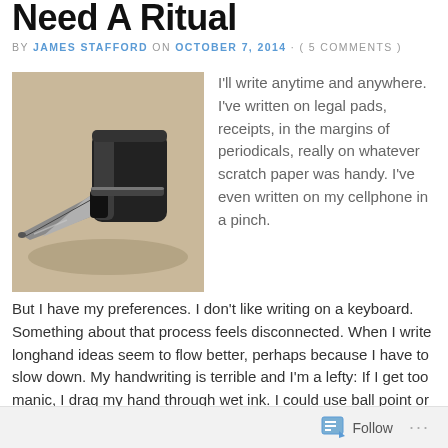Need A Ritual
BY JAMES STAFFORD ON OCTOBER 7, 2014 · ( 5 COMMENTS )
[Figure (photo): Close-up photograph of a fountain pen nib, metallic silver with a black grip section, against a light beige/cream background]
I'll write anytime and anywhere. I've written on legal pads, receipts, in the margins of periodicals, really on whatever scratch paper was handy. I've even written on my cellphone in a pinch.
But I have my preferences. I don't like writing on a keyboard. Something about that process feels disconnected. When I write longhand ideas seem to flow better, perhaps because I have to slow down. My handwriting is terrible and I'm a lefty: If I get too manic, I drag my hand through wet ink. I could use ball point or pencil to address that issue, I suppose, but I prefer a cartridge fountain pen
Follow ...